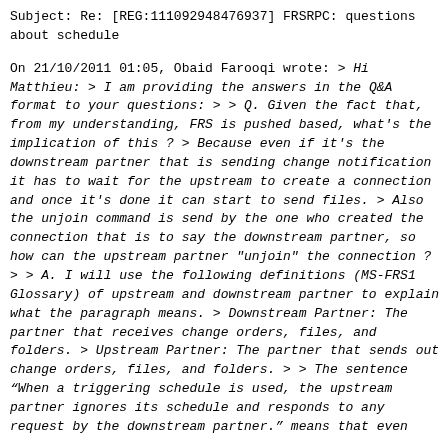Subject: Re: [REG:111092948476937] FRSRPC: questions about schedule
On 21/10/2011 01:05, Obaid Farooqi wrote:
> Hi Matthieu:
> I am providing the answers in the Q&A format to your questions:
>
> Q. Given the fact that, from my understanding, FRS is pushed based, what's the implication of this ?
> Because even if it's the downstream partner that is sending change notification it has to wait for the upstream to create a connection and once it's done it can start to send files.
> Also the unjoin command is send by the one who created the connection that is to say the downstream partner, so how can the upstream partner "unjoin" the connection ?
>
> A. I will use the following definitions (MS-FRS1 Glossary) of upstream and downstream partner to explain what the paragraph means.
> Downstream Partner: The partner that receives change orders, files, and folders.
> Upstream Partner: The partner that sends out change orders, files, and folders.
>
> The sentence “When a triggering schedule is used, the upstream partner ignores its schedule and responds to any request by the downstream partner.” means that even